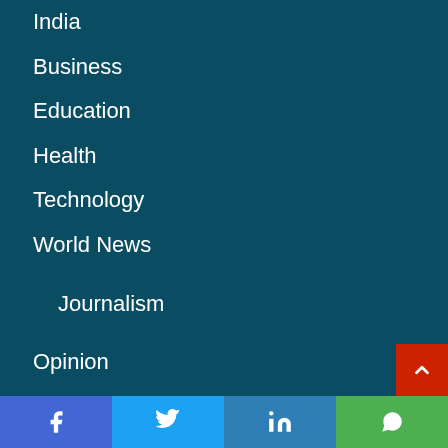India
Business
Education
Health
Technology
World News
Journalism
Opinion
Critical Edge
Politics
DilPaziir
Facebook Twitter LinkedIn WhatsApp